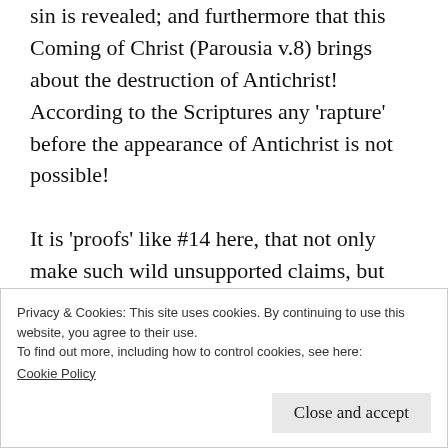sin is revealed; and furthermore that this Coming of Christ (Parousia v.8) brings about the destruction of Antichrist! According to the Scriptures any 'rapture' before the appearance of Antichrist is not possible!

It is 'proofs' like #14 here, that not only make such wild unsupported claims, but even completely contradict what the text actually does say, that turned me away from the pre-trib fable I was being fed from the pulpit of
Privacy & Cookies: This site uses cookies. By continuing to use this website, you agree to their use.
To find out more, including how to control cookies, see here: Cookie Policy